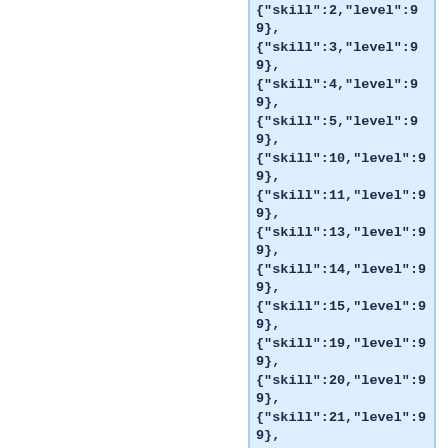{"skill":2,"level":99},
{"skill":3,"level":99},
{"skill":4,"level":99},
{"skill":5,"level":99},
{"skill":10,"level":99},
{"skill":11,"level":99},
{"skill":13,"level":99},
{"skill":14,"level":99},
{"skill":15,"level":99},
{"skill":19,"level":99},
{"skill":20,"level":99},
{"skill":21,"level":99},
{"skill":22,"level":99}]},"unlockRequirement":{"type":"Dungeon","dungeons":[{"dungeonID":15,"count":1}]},"rewards":[],"petID":46,"dropBones":false,"id":16,"isPremium":true,"isEvent":true}]